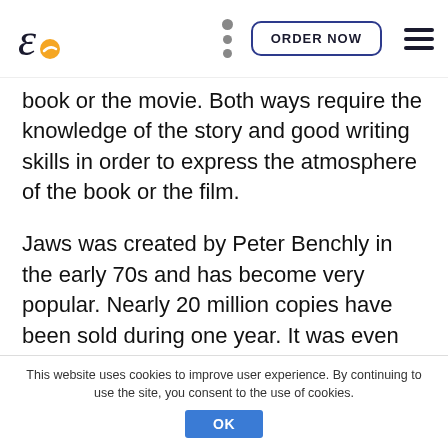ORDER NOW
book or the movie. Both ways require the knowledge of the story and good writing skills in order to express the atmosphere of the book or the film.
Jaws was created by Peter Benchly in the early 70s and has become very popular. Nearly 20 million copies have been sold during one year. It was even made into a movie directed by Steven Spielberg. This story tells us about a great shark that brings horror to the small town killing the
This website uses cookies to improve user experience. By continuing to use the site, you consent to the use of cookies. OK